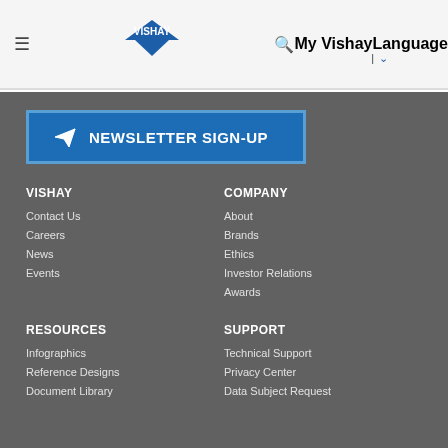VISHAY. My Vishay | Language
NEWSLETTER SIGN-UP
VISHAY
Contact Us
Careers
News
Events
COMPANY
About
Brands
Ethics
Investor Relations
Awards
RESOURCES
Infographics
Reference Designs
Document Library
SUPPORT
Technical Support
Privacy Center
Data Subject Request